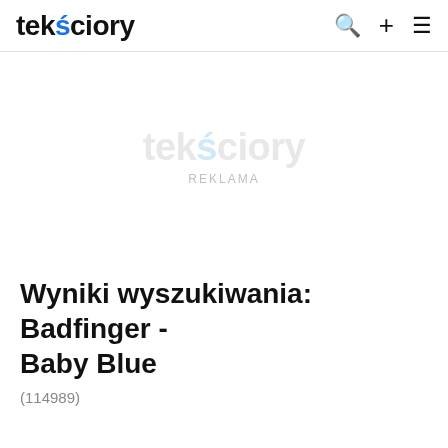tekściory
[Figure (other): Advertisement placeholder area with tekściory watermark and REKLAMA label]
Wyniki wyszukiwania: Badfinger - Baby Blue
(114989)